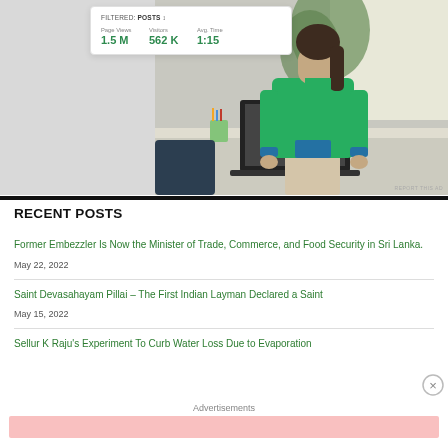[Figure (screenshot): Analytics dashboard widget showing Page Views: 1.5M, Visitors: 562K, Avg. Time: 1:15, with FILTERED: POSTS filter label, overlaid on top of an office photo of a woman in a green top standing at a desk]
[Figure (photo): Woman wearing green top and beige pants standing in front of a desk with a laptop in an office setting]
RECENT POSTS
Former Embezzler Is Now the Minister of Trade, Commerce, and Food Security in Sri Lanka.
May 22, 2022
Saint Devasahayam Pillai – The First Indian Layman Declared a Saint
May 15, 2022
Sellur K Raju's Experiment To Curb Water Loss Due to Evaporation
Advertisements